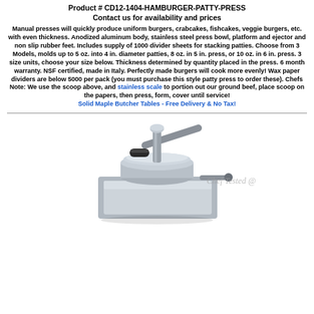Product # CD12-1404-HAMBURGER-PATTY-PRESS
Contact us for availability and prices
Manual presses will quickly produce uniform burgers, crabcakes, fishcakes, veggie burgers, etc. with even thickness. Anodized aluminum body, stainless steel press bowl, platform and ejector and non slip rubber feet. Includes supply of 1000 divider sheets for stacking patties. Choose from 3 Models, molds up to 5 oz. into 4 in. diameter patties, 8 oz. in 5 in. press, or 10 oz. in 6 in. press. 3 size units, choose your size below. Thickness determined by quantity placed in the press. 6 month warranty. NSF certified, made in Italy. Perfectly made burgers will cook more evenly! Wax paper dividers are below 5000 per pack (you must purchase this style patty press to order these). Chefs Note: We use the scoop above, and stainless scale to portion out our ground beef, place scoop on the papers, then press, form, cover until service!
Solid Maple Butcher Tables - Free Delivery & No Tax!
[Figure (photo): Photo of a stainless steel hamburger patty press with handle, with watermark text 'Chef Tested @']